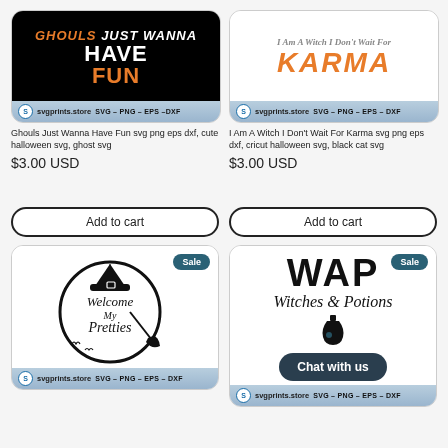[Figure (illustration): Product image: Black background with orange italic text 'GHOULS JUST WANNA' and large white/orange bold text 'HAVE FUN'. Store footer: svgprints.store SVG-PNG-EPS-DXF]
[Figure (illustration): Product image: White background with orange italic bold text 'KARMA'. Store footer: svgprints.store SVG-PNG-EPS-DXF]
Ghouls Just Wanna Have Fun svg png eps dxf, cute halloween svg, ghost svg
I Am A Witch I Don't Wait For Karma svg png eps dxf, cricut halloween svg, black cat svg
$3.00 USD
$3.00 USD
Add to cart
Add to cart
[Figure (illustration): Product card with Sale badge. Black circle design with witch hat, spider, and broom. Text: 'Welcome My Pretties'. Store footer: svgprints.store SVG-PNG-EPS-DXF]
[Figure (illustration): Product card with Sale badge. Large bold text 'WAP' with script text 'Witches & Potions' and potion bottle icon. Dark 'Chat with us' button. Store footer: svgprints.store SVG-PNG-EPS-DXF]